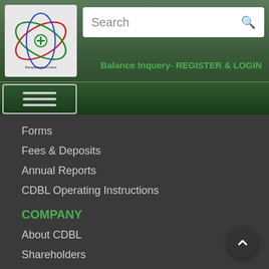[Figure (logo): Central Depository Bangladesh Limited (CDBL) circular logo with green orbital rings and a plus symbol, on a light grey background]
Search
Balance Inquery- REGISTER & LOGIN
[Figure (other): Hamburger menu button (three horizontal lines) on a dark green navigation bar]
Forms
Fees & Deposits
Annual Reports
CDBL Operating Instructions
COMPANY
About CDBL
Shareholders
Latest News
Innovation
Careers
FAQs